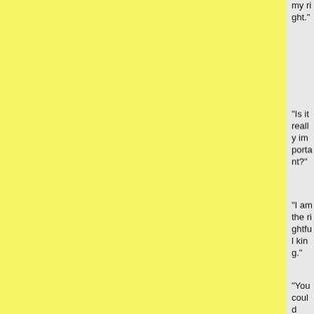my right.
"Is it really important?"
"I am the rightful king."
"You could